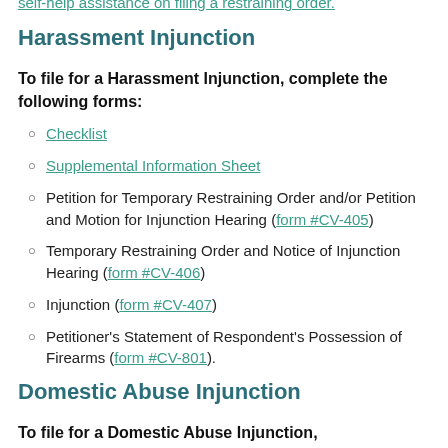self-help assistance on filing a restraining order.
Harassment Injunction
To file for a Harassment Injunction, complete the following forms:
Checklist
Supplemental Information Sheet
Petition for Temporary Restraining Order and/or Petition and Motion for Injunction Hearing (form #CV-405)
Temporary Restraining Order and Notice of Injunction Hearing (form #CV-406)
Injunction (form #CV-407)
Petitioner's Statement of Respondent's Possession of Firearms (form #CV-801).
Domestic Abuse Injunction
To file for a Domestic Abuse Injunction,